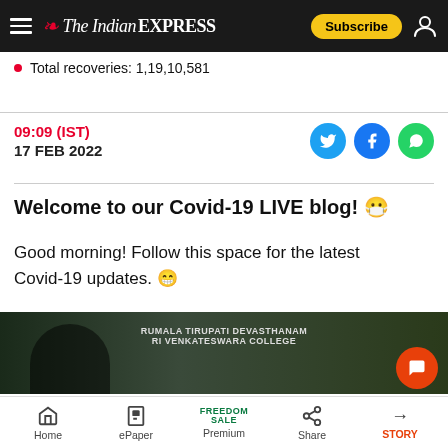The Indian Express — Subscribe
Total recoveries: 1,19,10,581
09:09 (IST)
17 FEB 2022
Welcome to our Covid-19 LIVE blog! 😷
Good morning! Follow this space for the latest Covid-19 updates. 😁
[Figure (photo): Partial photograph of a person with text overlay reading RUMALA TIRUPATI DEVASTHANAM / RI VENKATESWARA COLLEGE visible on signage in the background]
Home | ePaper | Premium (FREEDOM SALE) | Share | STORY